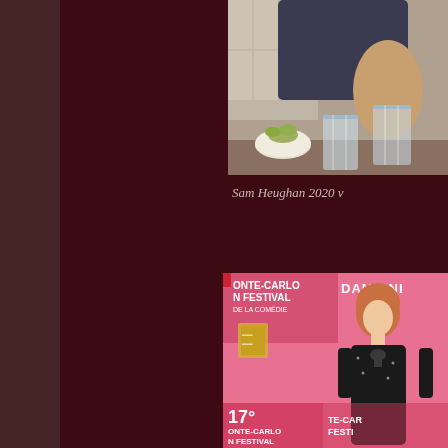[Figure (photo): Photo of Sam Heughan at a table with glasses of water and a small bowl with flowers, wearing a dark t-shirt, cropped to show torso and table setting]
Sam Heughan 2020 v
[Figure (photo): Photo of a woman in a black dress at the Monte-Carlo Film Festival de la Comedie with DAMIANI branding on a pink backdrop, labeled 17° MONTE-CARLO FILM FESTIVAL]